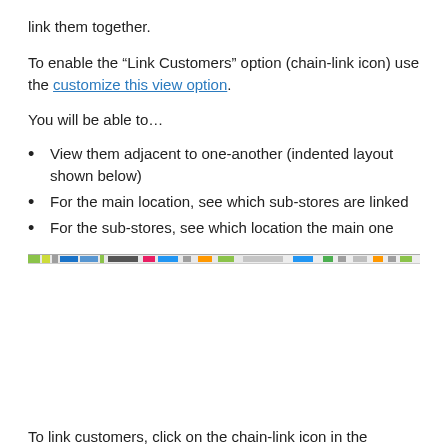link them together.
To enable the “Link Customers” option (chain-link icon) use the customize this view option.
You will be able to…
View them adjacent to one-another (indented layout shown below)
For the main location, see which sub-stores are linked
For the sub-stores, see which location the main one
[Figure (screenshot): A thin horizontal strip showing a partial screenshot of a table/list view interface with colored elements]
To link customers, click on the chain-link icon in the